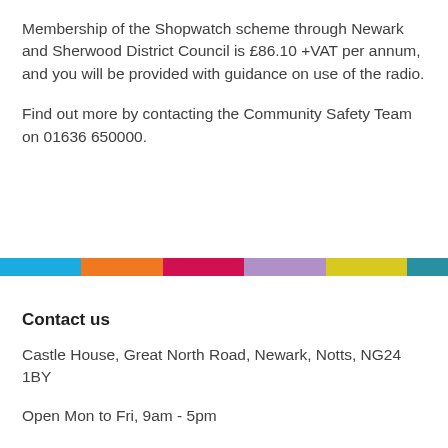Membership of the Shopwatch scheme through Newark and Sherwood District Council is £86.10 +VAT per annum, and you will be provided with guidance on use of the radio.

Find out more by contacting the Community Safety Team on 01636 650000.
[Figure (infographic): Horizontal multicolour stripe bar with segments in cyan/blue, orange, crimson/red, lavender/purple, yellow-green, and teal.]
Contact us
Castle House, Great North Road, Newark, Notts, NG24 1BY
Open Mon to Fri, 9am - 5pm